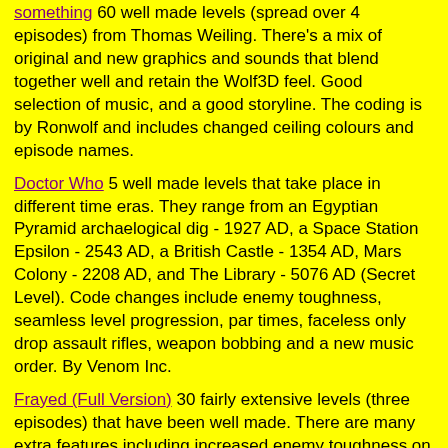something 60 well made levels (spread over 4 episodes) from Thomas Weiling. There's a mix of original and new graphics and sounds that blend together well and retain the Wolf3D feel. Good selection of music, and a good storyline. The coding is by Ronwolf and includes changed ceiling colours and episode names.
Doctor Who 5 well made levels that take place in different time eras. They range from an Egyptian Pyramid archaelogical dig - 1927 AD, a Space Station Epsilon - 2543 AD, a British Castle - 1354 AD, Mars Colony - 2208 AD, and The Library - 5076 AD (Secret Level). Code changes include enemy toughness, seamless level progression, par times, faceless only drop assault rifles, weapon bobbing and a new music order. By Venom Inc.
Frayed (Full Version) 30 fairly extensive levels (three episodes) that have been well made. There are many extra features including increased enemy toughness on new bosses, a new enemy, the Blood Doll, additional wall textures, slightly improved aiming (Thanks to CodeTech84), a new music order and a new rating screen. It all blends together very well. By Venom Inc.
Krankenstein Set in a hospital, there are 10 very large well made levels. Some levels are easy, some are quite difficult. Some graphics and sounds come from other mods, including Hotel Romanstein, though most of the graphics and some sounds were made by Vincent. It all blends together well most of the time and